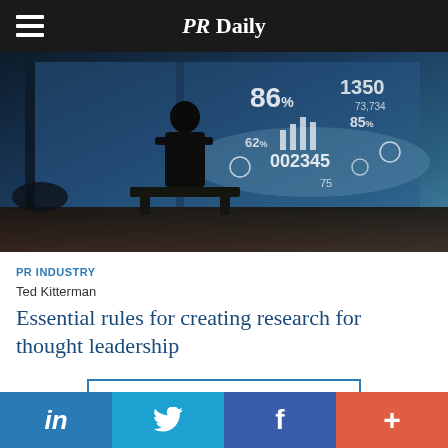PR Daily
[Figure (photo): Silhouette of a person standing in front of a large window with digital data overlays showing charts, numbers like 86%, 1350, 002345, 85%, and other analytics visualizations in blue tones]
PR INDUSTRY
Ted Kitterman
Essential rules for creating research for thought leadership
LOAD MORE ARTICLES